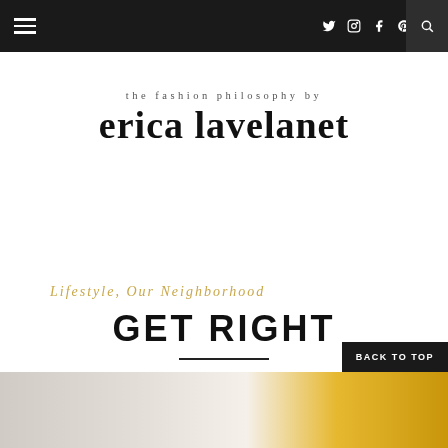≡  ✦ ☷ f ℗ ♥  🔍
the fashion philosophy by
erica lavelanet
Lifestyle, Our Neighborhood
GET RIGHT
BACK TO TOP
[Figure (photo): Partial photo at bottom showing event decoration with white backdrop and gold/yellow balloons]